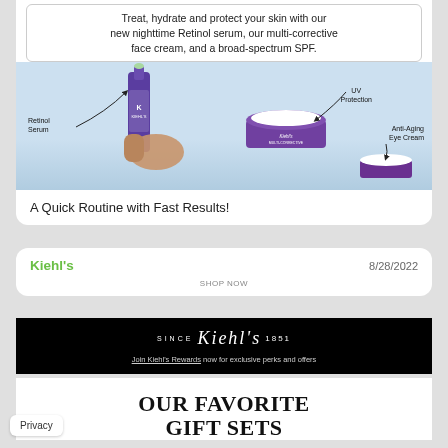Treat, hydrate and protect your skin with our new nighttime Retinol serum, our multi-corrective face cream, and a broad-spectrum SPF.
[Figure (photo): Product photo showing Kiehl's Retinol Serum (purple bottle held in hand), UV Protection cream (open jar), and Anti-Aging Eye Cream jar on a light blue background with labeled arrows]
A Quick Routine with Fast Results!
Kiehl's
8/28/2022
SHOP NOW
[Figure (logo): Kiehl's logo in script font on black background, with 'SINCE' and '1851' text flanking it]
Join Kiehl's Rewards now for exclusive perks and offers
OUR FAVORITE GIFT SETS
Privacy